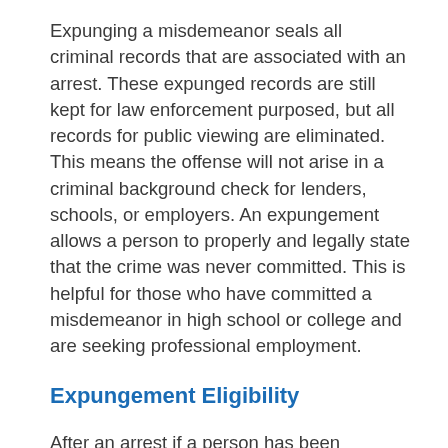Expunging a misdemeanor seals all criminal records that are associated with an arrest. These expunged records are still kept for law enforcement purposed, but all records for public viewing are eliminated. This means the offense will not arise in a criminal background check for lenders, schools, or employers. An expungement allows a person to properly and legally state that the crime was never committed. This is helpful for those who have committed a misdemeanor in high school or college and are seeking professional employment.
Expungement Eligibility
After an arrest if a person has been convicted of a crime — plead guilty or was